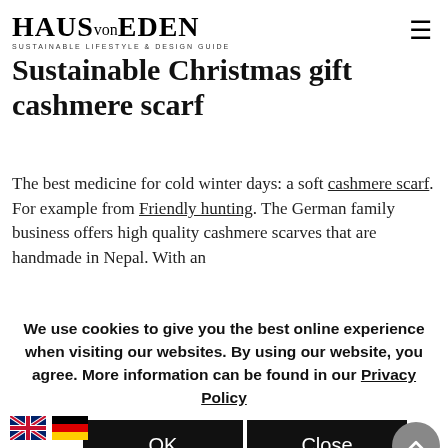HAUS von EDEN SUSTAINABLE LIFESTYLE & DESIGN GUIDE
Sustainable Christmas gift cashmere scarf
The best medicine for cold winter days: a soft cashmere scarf. For example from Friendly hunting. The German family business offers high quality cashmere scarves that are handmade in Nepal. With an
We use cookies to give you the best online experience when visiting our websites. By using our website, you agree. More information can be found in our Privacy Policy
OK
Close